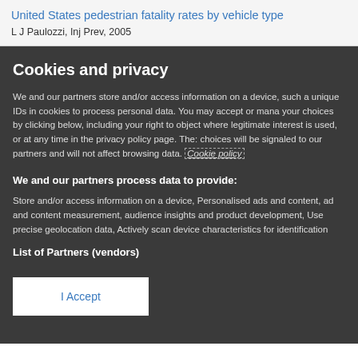United States pedestrian fatality rates by vehicle type
L J Paulozzi, Inj Prev, 2005
Cookies and privacy
We and our partners store and/or access information on a device, such as unique IDs in cookies to process personal data. You may accept or manage your choices by clicking below, including your right to object where legitimate interest is used, or at any time in the privacy policy page. These choices will be signaled to our partners and will not affect browsing data. Cookie policy
We and our partners process data to provide:
Store and/or access information on a device, Personalised ads and content, ad and content measurement, audience insights and product development, Use precise geolocation data, Actively scan device characteristics for identification
List of Partners (vendors)
I Accept